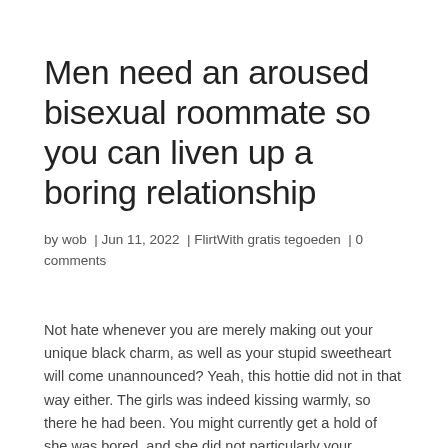Men need an aroused bisexual roommate so you can liven up a boring relationship
by wob  |  Jun 11, 2022  |  FlirtWith gratis tegoeden  |  0 comments
Not hate whenever you are merely making out your unique black charm, as well as your stupid sweetheart will come unannounced? Yeah, this hottie did not in that way either. The girls was indeed kissing warmly, so there he had been. You might currently get a hold of she was bored, and she did not particularly your